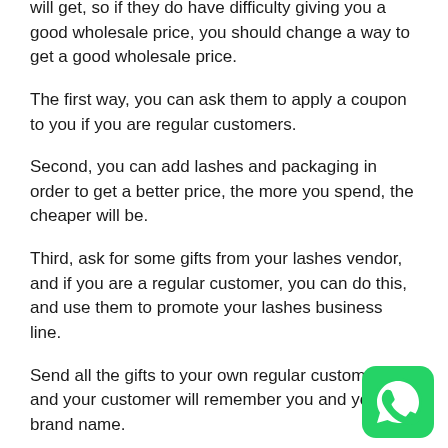will get, so if they do have difficulty giving you a good wholesale price, you should change a way to get a good wholesale price.
The first way, you can ask them to apply a coupon to you if you are regular customers.
Second, you can add lashes and packaging in order to get a better price, the more you spend, the cheaper will be.
Third, ask for some gifts from your lashes vendor, and if you are a regular customer, you can do this, and use them to promote your lashes business line.
Send all the gifts to your own regular customers, and your customer will remember you and your brand name.
[Figure (logo): WhatsApp logo icon — green rounded square with white phone handset icon]